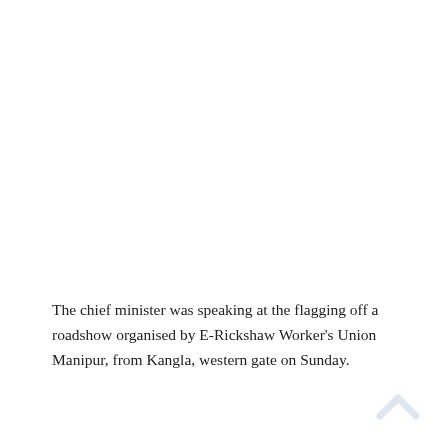The chief minister was speaking at the flagging off a roadshow organised by E-Rickshaw Worker's Union Manipur, from Kangla, western gate on Sunday.